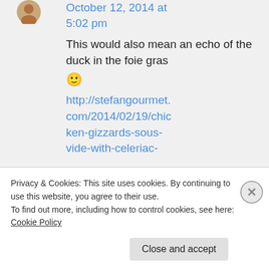October 12, 2014 at 5:02 pm
This would also mean an echo of the duck in the foie gras 🙂
http://stefangourmet.com/2014/02/19/chicken-gizzards-sous-vide-with-celeriac-
Privacy & Cookies: This site uses cookies. By continuing to use this website, you agree to their use.
To find out more, including how to control cookies, see here: Cookie Policy
Close and accept